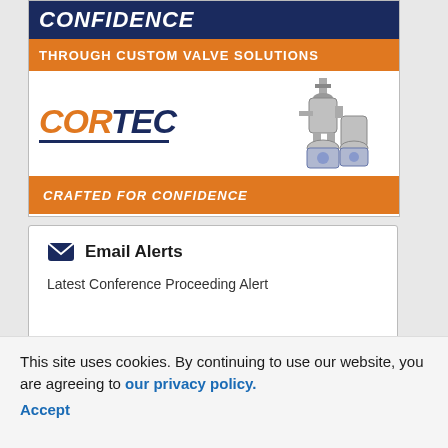[Figure (illustration): Cortec advertisement banner for custom valve solutions. Dark blue top banner with 'CONFIDENCE' text, orange strip with 'THROUGH CUSTOM VALVE SOLUTIONS', white middle section with Cortec logo in orange and navy, industrial valve equipment photo on the right, and orange bottom banner with 'CRAFTED FOR CONFIDENCE'.]
Email Alerts
Latest Conference Proceeding Alert
SPE/IADC Drilling Conference and Exhibition
This site uses cookies. By continuing to use our website, you are agreeing to our privacy policy. Accept